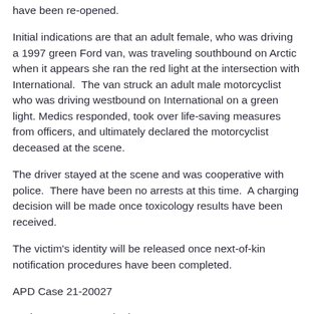have been re-opened.
Initial indications are that an adult female, who was driving a 1997 green Ford van, was traveling southbound on Arctic when it appears she ran the red light at the intersection with International.  The van struck an adult male motorcyclist who was driving westbound on International on a green light.  Medics responded, took over life-saving measures from officers, and ultimately declared the motorcyclist deceased at the scene.
The driver stayed at the scene and was cooperative with police.  There have been no arrests at this time.  A charging decision will be made once toxicology results have been received.
The victim's identity will be released once next-of-kin notification procedures have been completed.
APD Case 21-20027
Update--6:41AM--06/24/21
This is a fatal traffic investigation.